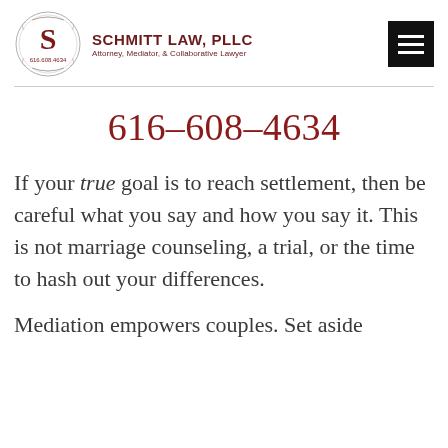[Figure (logo): Schmitt Law PLLC logo with ornate circular S monogram and phone number 616.608.4634, accompanied by firm name SCHMITT LAW, PLLC and tagline Attorney, Mediator, & Collaborative Lawyer, plus a black hamburger menu icon]
616-608-4634
If your true goal is to reach settlement, then be careful what you say and how you say it. This is not marriage counseling, a trial, or the time to hash out your differences.
Mediation empowers couples. Set aside